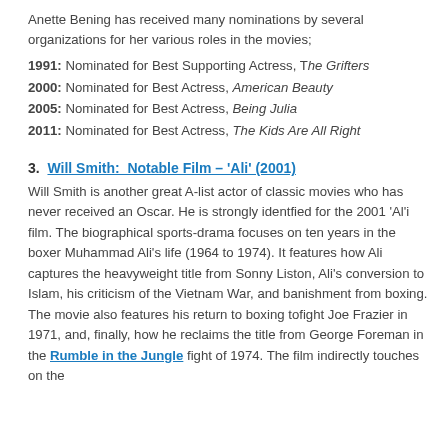Anette Bening has received many nominations by several organizations for her various roles in the movies;
1991: Nominated for Best Supporting Actress, The Grifters
2000: Nominated for Best Actress, American Beauty
2005: Nominated for Best Actress, Being Julia
2011: Nominated for Best Actress, The Kids Are All Right
3.  Will Smith:  Notable Film – 'Ali' (2001)
Will Smith is another great A-list actor of classic movies who has never received an Oscar. He is strongly identfied for the 2001 'Al'i film. The biographical sports-drama focuses on ten years in the boxer Muhammad Ali's life (1964 to 1974). It features how Ali captures the heavyweight title from Sonny Liston, Ali's conversion to Islam, his criticism of the Vietnam War, and banishment from boxing. The movie also features his return to boxing tofight Joe Frazier in 1971, and, finally, how he reclaims the title from George Foreman in the Rumble in the Jungle fight of 1974. The film indirectly touches on the